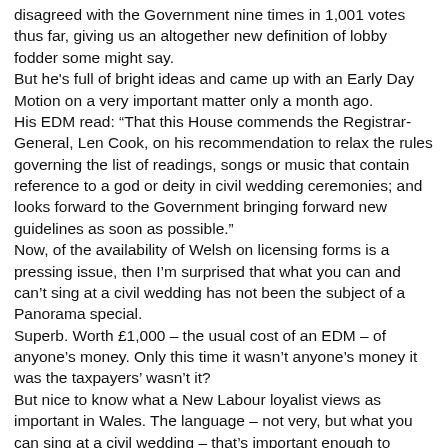disagreed with the Government nine times in 1,001 votes thus far, giving us an altogether new definition of lobby fodder some might say.
But he's full of bright ideas and came up with an Early Day Motion on a very important matter only a month ago.
His EDM read: “That this House commends the Registrar-General, Len Cook, on his recommendation to relax the rules governing the list of readings, songs or music that contain reference to a god or deity in civil wedding ceremonies; and looks forward to the Government bringing forward new guidelines as soon as possible.”
Now, of the availability of Welsh on licensing forms is a pressing issue, then I’m surprised that what you can and can’t sing at a civil wedding has not been the subject of a Panorama special.
Superb. Worth £1,000 – the usual cost of an EDM – of anyone’s money. Only this time it wasn’t anyone’s money it was the taxpayers’ wasn’t it?
But nice to know what a New Labour loyalist views as important in Wales. The language – not very, but what you can sing at a civil wedding – that’s important enough to waste taxpayers’ money and parliamentary resources on.
If I were Elfyn Llwyd, in the face of such mighty intellects, I